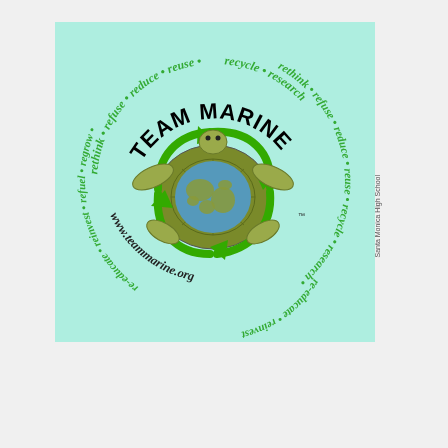[Figure (logo): Team Marine logo: a sea turtle with a recycling symbol on its shell showing the globe, surrounded by circular text listing environmental action words (rethink, refuse, reduce, reuse, recycle, research, re-educate, reinvest, refuel, regrow) and the website www.teammarine.org. The main title 'TEAM MARINE' appears in bold black at the top.]
Santa Monica High School